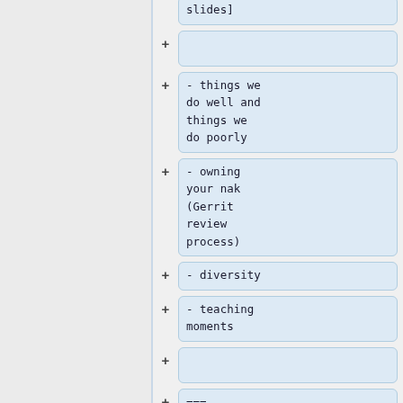slides]
- things we do well and things we do poorly
- owning your nak (Gerrit review process)
- diversity
- teaching moments
=== Maintainers